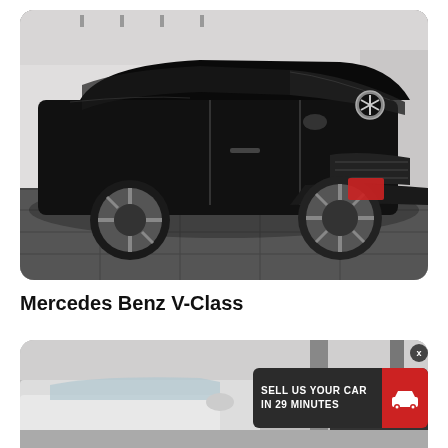[Figure (photo): Black Mercedes Benz V-Class minivan parked indoors in a showroom, front three-quarter view, on dark tile floor with white walls and ceiling track lighting in background.]
Mercedes Benz V-Class
[Figure (photo): Interior of a car dealership showroom, partially visible vehicle, with a promotional banner overlay reading 'SELL US YOUR CAR IN 29 MINUTES' with a red car icon badge and X close button.]